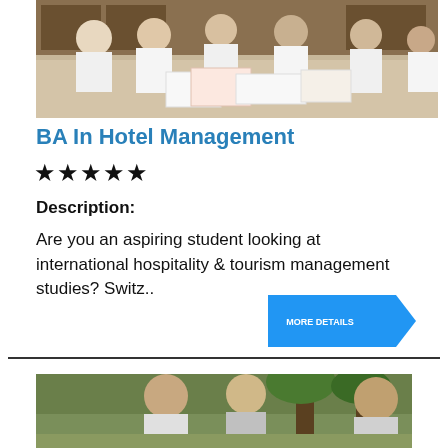[Figure (photo): Students in white shirts gathered around a table in a library, studying and discussing with books and papers spread out]
BA In Hotel Management
★★★★★
Description:
Are you an aspiring student looking at international hospitality & tourism management studies? Switz..
[Figure (other): Blue arrow/chevron button with text 'MORE DETAILS']
[Figure (photo): Two people outdoors, partially visible at bottom of page]